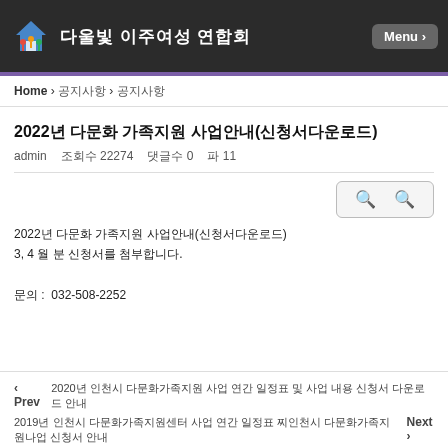다울빛 이주여성 연합회
Home > 공지사항 > 공지사항
2022년 다문화 가족지원 사업안내(신청서다운로드)
admin  조회수 22274  댓글수 0  파일 11
2022년 다문화 가족지원 사업안내(신청서다운로드)
3, 4 월 분 신청서를 첨부합니다.

문의 :  032-508-2252
‹ Prev  2020년 인천시 다문화가족지원 사업 연간 일정표 및 사업 내용 신청서 다운로드 안내
2019년 인천시 다문화가족지원센터 사업 연간 일정표 찌인천시 다문화가족지원나업 신청서 안내  Next ›